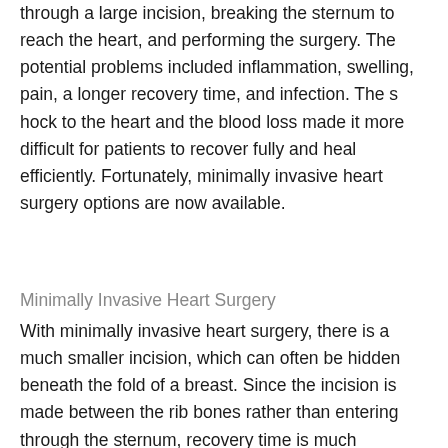through a large incision, breaking the sternum to reach the heart, and performing the surgery. The potential problems included inflammation, swelling, pain, a longer recovery time, and infection. The s hock to the heart and the blood loss made it more difficult for patients to recover fully and heal efficiently. Fortunately, minimally invasive heart surgery options are now available.
Minimally Invasive Heart Surgery
With minimally invasive heart surgery, there is a much smaller incision, which can often be hidden beneath the fold of a breast. Since the incision is made between the rib bones rather than entering through the sternum, recovery time is much